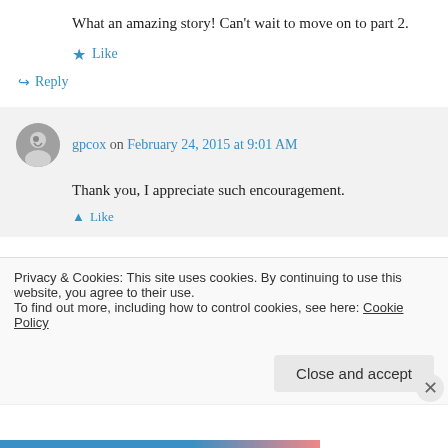What an amazing story! Can't wait to move on to part 2.
★ Like
↪ Reply
gpcox on February 24, 2015 at 9:01 AM
Thank you, I appreciate such encouragement.
★ Like
Privacy & Cookies: This site uses cookies. By continuing to use this website, you agree to their use. To find out more, including how to control cookies, see here: Cookie Policy
Close and accept